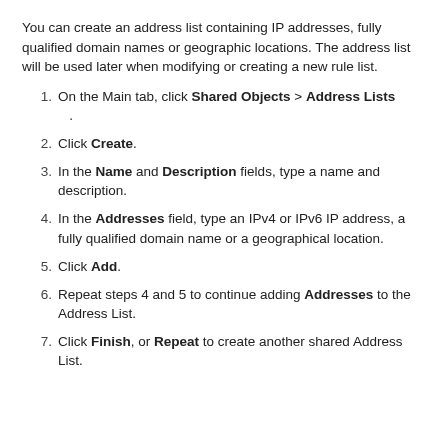You can create an address list containing IP addresses, fully qualified domain names or geographic locations. The address list will be used later when modifying or creating a new rule list.
On the Main tab, click Shared Objects > Address Lists .
Click Create.
In the Name and Description fields, type a name and description.
In the Addresses field, type an IPv4 or IPv6 IP address, a fully qualified domain name or a geographical location.
Click Add.
Repeat steps 4 and 5 to continue adding Addresses to the Address List.
Click Finish, or Repeat to create another shared Address List.